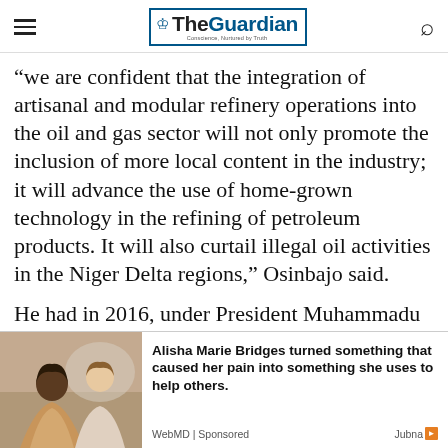The Guardian — Conscience, Nurtured by Truth
''we are confident that the integration of artisanal and modular refinery operations into the oil and gas sector will not only promote the inclusion of more local content in the industry; it will advance the use of home-grown technology in the refining of petroleum products. It will also curtail illegal oil activities in the Niger Delta regions,'' Osinbajo said.
He had in 2016, under President Muhammadu Buhari's directive, embarked on a tour of oil-[producing communities in the Niger Delta, in which…]
[Figure (photo): Advertisement photo showing two people in conversation, used for WebMD sponsored content about Alisha Marie Bridges]
Alisha Marie Bridges turned something that caused her pain into something she uses to help others.
WebMD | Sponsored
Jubna